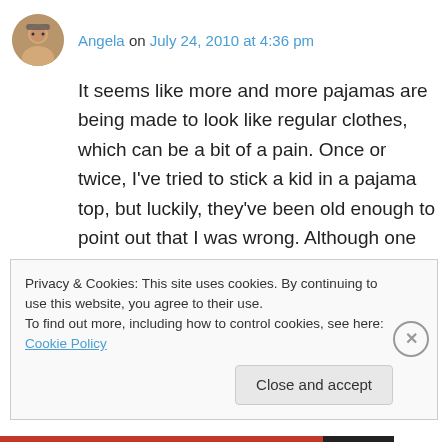Angela on July 24, 2010 at 4:36 pm
It seems like more and more pajamas are being made to look like regular clothes, which can be a bit of a pain. Once or twice, I've tried to stick a kid in a pajama top, but luckily, they've been old enough to point out that I was wrong. Although one of the boys I nanny wore a pajama top to school, knowing full well that it was pajamas. Can't win them all!
Privacy & Cookies: This site uses cookies. By continuing to use this website, you agree to their use. To find out more, including how to control cookies, see here: Cookie Policy
Close and accept